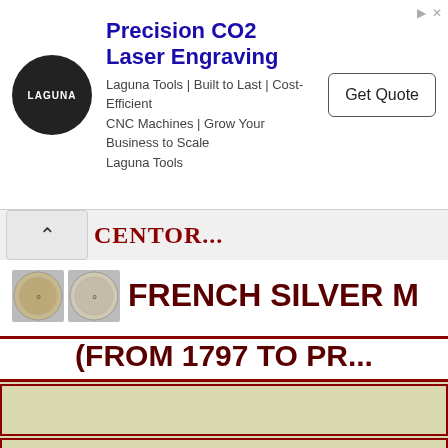[Figure (other): Advertisement banner for Laguna Tools CO2 Laser Engraving with logo, text, and Get Quote button]
FRENCH SILVER (FROM 1797 TO PR...
This is a page of A Small Collection of Antique Silver and Objects of vertu, a 1500 pages richly illustrated website offering all you need to know about antique silver, sterling silver, silverplate, sheffield plate, electroplate silver, silverware, flatware, tea services and tea complements, marks and hallmarks, articles, books, auction